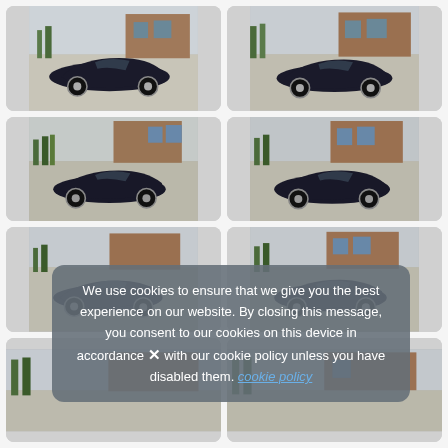[Figure (photo): Dark classic Jaguar E-Type coupe parked in a courtyard, front three-quarter view, brick building in background]
[Figure (photo): Dark classic Jaguar E-Type coupe parked in a courtyard, front three-quarter view from slightly different angle]
[Figure (photo): Dark classic Jaguar E-Type coupe, front three-quarter view, trees and brick building in background]
[Figure (photo): Dark classic Jaguar E-Type coupe, side/front three-quarter view in courtyard]
[Figure (photo): Partial view of dark classic Jaguar E-Type coupe from top row, partially obscured by cookie banner]
[Figure (photo): Partial view of dark classic Jaguar E-Type coupe, partially obscured by cookie banner]
[Figure (photo): Partial view of dark classic Jaguar E-Type, bottom row, partially cut off]
[Figure (photo): Partial view of dark classic Jaguar E-Type, bottom row, partially cut off]
We use cookies to ensure that we give you the best experience on our website. By closing this message, you consent to our cookies on this device in accordance with our cookie policy unless you have disabled them. cookie policy